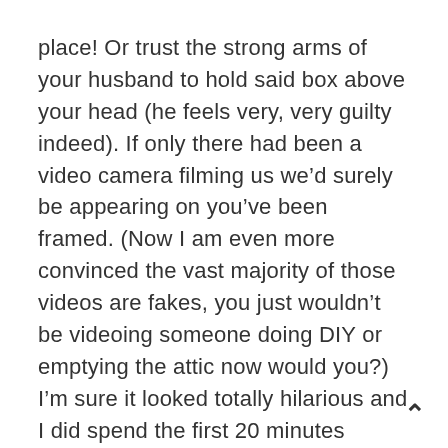place! Or trust the strong arms of your husband to hold said box above your head (he feels very, very guilty indeed). If only there had been a video camera filming us we'd surely be appearing on you've been framed. (Now I am even more convinced the vast majority of those videos are fakes, you just wouldn't be videoing someone doing DIY or emptying the attic now would you?) I'm sure it looked totally hilarious and I did spend the first 20 minutes laughing about it (very likely the shock!) until I realised I'd actually hurt myself.
On returning from the hospital I went round to seek much needed sympathy from my darling mother, there really is nothing like a